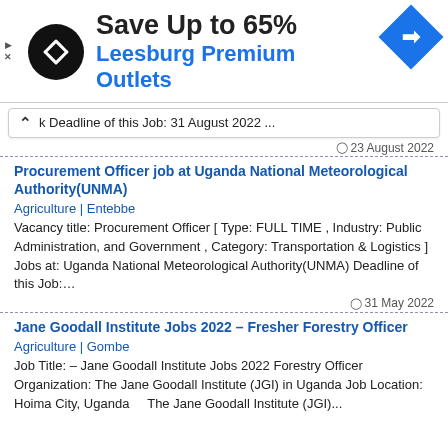[Figure (infographic): Advertisement banner: Save Up to 65% Leesburg Premium Outlets with logo and navigation icon]
k Deadline of this Job: 31 August 2022 …
23 August 2022
Procurement Officer job at Uganda National Meteorological Authority(UNMA)
Agriculture | Entebbe
Vacancy title: Procurement Officer [ Type: FULL TIME , Industry: Public Administration, and Government , Category: Transportation & Logistics ] Jobs at: Uganda National Meteorological Authority(UNMA) Deadline of this Job:…
31 May 2022
Jane Goodall Institute Jobs 2022 – Fresher Forestry Officer
Agriculture | Gombe
Job Title:  – Jane Goodall Institute Jobs 2022 Forestry Officer Organization: The Jane Goodall Institute (JGI) in Uganda Job Location: Hoima City, Uganda    The Jane Goodall Institute (JGI)...